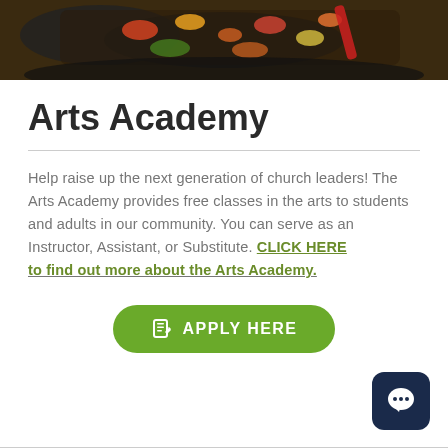[Figure (photo): Cooking photo showing vegetables being stir-fried in a dark pan or skillet, viewed from above]
Arts Academy
Help raise up the next generation of church leaders! The Arts Academy provides free classes in the arts to students and adults in our community. You can serve as an Instructor, Assistant, or Substitute. CLICK HERE to find out more about the Arts Academy.
[Figure (other): Green rounded button labeled APPLY HERE with a document/clipboard icon]